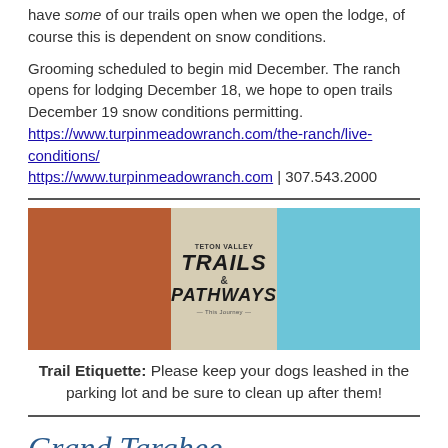have some of our trails open when we open the lodge, of course this is dependent on snow conditions.
Grooming scheduled to begin mid December. The ranch opens for lodging December 18, we hope to open trails December 19 snow conditions permitting. https://www.turpinmeadowranch.com/the-ranch/live-conditions/ https://www.turpinmeadowranch.com | 307.543.2000
[Figure (logo): Teton Valley Trails & Pathways logo banner — rust-orange left block, center beige block with stylized text reading TETON VALLEY TRAILS & PATHWAYS with tagline, sky-blue right block.]
Trail Etiquette: Please keep your dogs leashed in the parking lot and be sure to clean up after them!
Grand Targhee